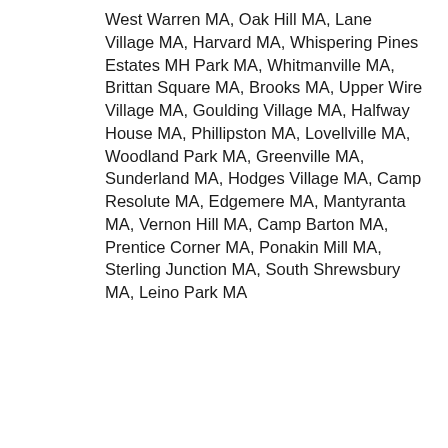West Warren MA, Oak Hill MA, Lane Village MA, Harvard MA, Whispering Pines Estates MH Park MA, Whitmanville MA, Brittan Square MA, Brooks MA, Upper Wire Village MA, Goulding Village MA, Halfway House MA, Phillipston MA, Lovellville MA, Woodland Park MA, Greenville MA, Sunderland MA, Hodges Village MA, Camp Resolute MA, Edgemere MA, Mantyranta MA, Vernon Hill MA, Camp Barton MA, Prentice Corner MA, Ponakin Mill MA, Sterling Junction MA, South Shrewsbury MA, Leino Park MA